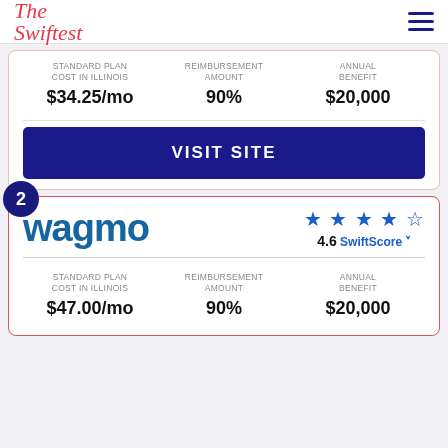The Swiftest
| STANDARD PLAN COST IN ILLINOIS | REIMBURSEMENT AMOUNT | ANNUAL BENEFIT |
| --- | --- | --- |
| $34.25/mo | 90% | $20,000 |
VISIT SITE
2
[Figure (logo): Wagmo logo in dark blue bold text]
4.6 SwiftScore
| STANDARD PLAN COST IN ILLINOIS | REIMBURSEMENT AMOUNT | ANNUAL BENEFIT |
| --- | --- | --- |
| $47.00/mo | 90% | $20,000 |